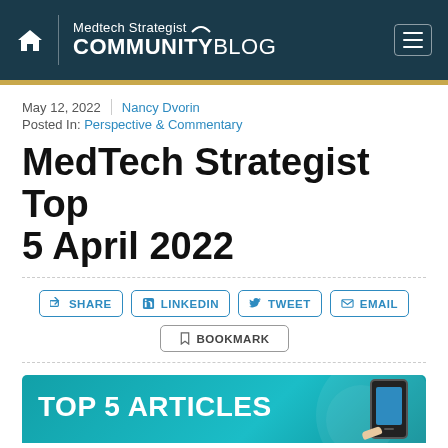Medtech Strategist COMMUNITY BLOG
May 12, 2022 | Nancy Dvorin
Posted In: Perspective & Commentary
MedTech Strategist Top 5 April 2022
SHARE | LINKEDIN | TWEET | EMAIL | BOOKMARK
[Figure (photo): TOP 5 ARTICLES banner with teal background and hand holding smartphone]